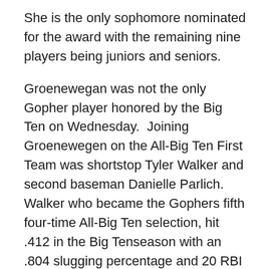She is the only sophomore nominated for the award with the remaining nine players being juniors and seniors.
Groenewegan was not the only Gopher player honored by the Big Ten on Wednesday.  Joining Groenewegen on the All-Big Ten First Team was shortstop Tyler Walker and second baseman Danielle Parlich.  Walker who became the Gophers fifth four-time All-Big Ten selection, hit .412 in the Big Tenseason with an .804 slugging percentage and 20 RBI in 15 Big Ten games.  She is the Gophers first three-time first-team selection.
Parlich  hit .427 in conference play, and takes a 19-game hitting streak into the Big Ten Tournament. She is also one of 25 finalists for the NFCA National Freshman of the Year Award. Unfortunately she lost